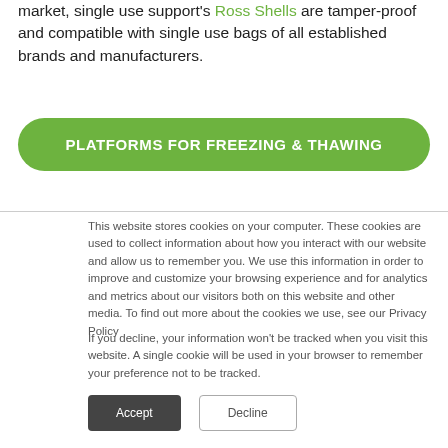market, single use support's Ross Shells are tamper-proof and compatible with single use bags of all established brands and manufacturers.
PLATFORMS FOR FREEZING & THAWING
This website stores cookies on your computer. These cookies are used to collect information about how you interact with our website and allow us to remember you. We use this information in order to improve and customize your browsing experience and for analytics and metrics about our visitors both on this website and other media. To find out more about the cookies we use, see our Privacy Policy
If you decline, your information won't be tracked when you visit this website. A single cookie will be used in your browser to remember your preference not to be tracked.